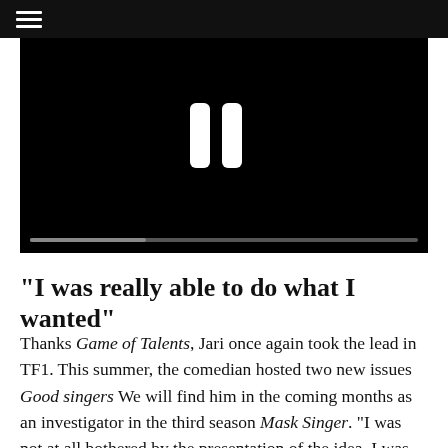≡
[Figure (screenshot): Video player showing a black screen with a white pause icon (two vertical rounded bars) in the center, and a dark progress bar at the bottom.]
“I was really able to do what I wanted”
Thanks Game of Talents, Jari once again took the lead in TF1. This summer, the comedian hosted two new issues Good singers We will find him in the coming months as an investigator in the third season Mask Singer. “I was not at all bothered by the presentation of the idea, I was